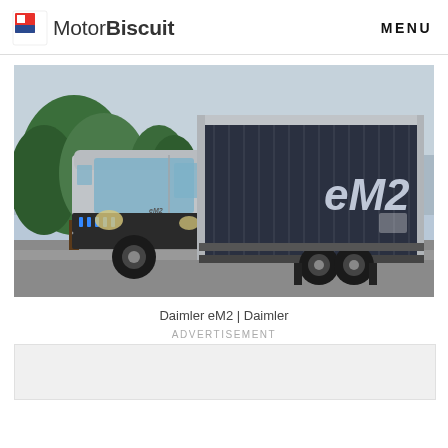MotorBiscuit  MENU
[Figure (photo): Daimler eM2 electric medium-duty box truck in silver and dark blue, parked on a road with trees in background. The large cargo box has 'eM2' branding. Blue LED lights visible on the grille.]
Daimler eM2 | Daimler
ADVERTISEMENT